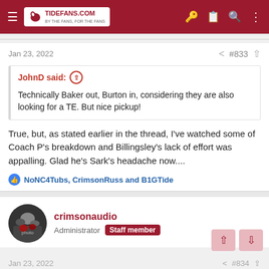TideFans.com
Jan 23, 2022  #833
JohnD said: Technically Baker out, Burton in, considering they are also looking for a TE. But nice pickup!
True, but, as stated earlier in the thread, I've watched some of Coach P's breakdown and Billingsley's lack of effort was appalling. Glad he's Sark's headache now....
NoNC4Tubs, CrimsonRuss and B1GTide
crimsonaudio
Administrator  Staff member
Jan 23, 2022